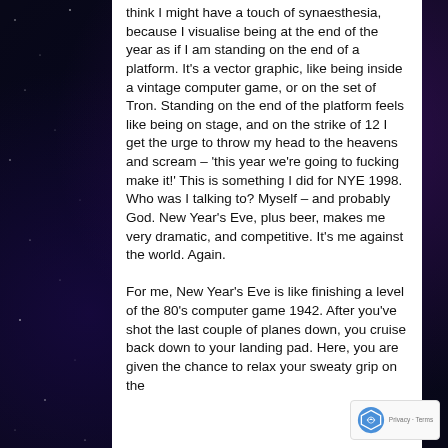think I might have a touch of synaesthesia, because I visualise being at the end of the year as if I am standing on the end of a platform. It's a vector graphic, like being inside a vintage computer game, or on the set of Tron. Standing on the end of the platform feels like being on stage, and on the strike of 12 I get the urge to throw my head to the heavens and scream – 'this year we're going to fucking make it!' This is something I did for NYE 1998. Who was I talking to? Myself – and probably God. New Year's Eve, plus beer, makes me very dramatic, and competitive. It's me against the world. Again.

For me, New Year's Eve is like finishing a level of the 80's computer game 1942. After you've shot the last couple of planes down, you cruise back down to your landing pad. Here, you are given the chance to relax your sweaty grip on the